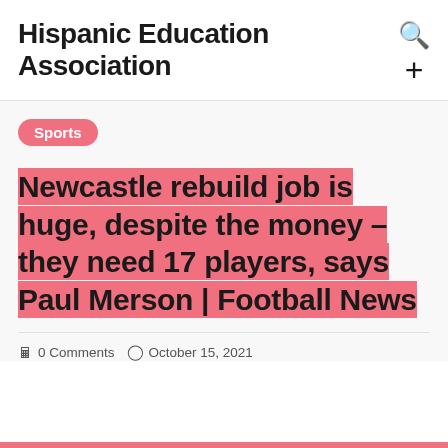Hispanic Education Association
Newcastle rebuild job is huge, despite the money – they need 17 players, says Paul Merson | Football News
0 Comments   October 15, 2021